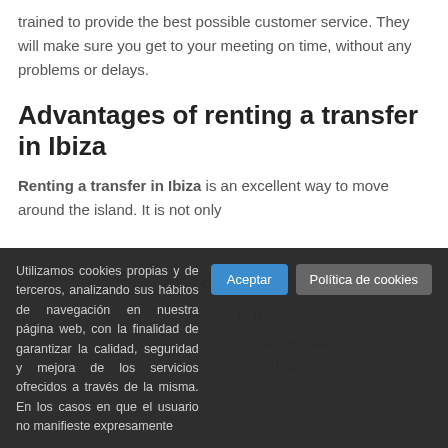trained to provide the best possible customer service. They will make sure you get to your meeting on time, without any problems or delays.
Advantages of renting a transfer in Ibiza
Renting a transfer in Ibiza is an excellent way to move around the island. It is not only
Utilizamos cookies propias y de terceros, analizando sus hábitos de navegación en nuestra página web, con la finalidad de garantizar la calidad, seguridad y mejora de los servicios ofrecidos a través de la misma. En los casos en que el usuario no manifieste expresamente